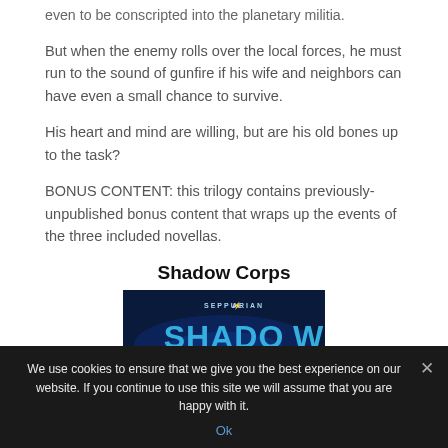even to be conscripted into the planetary militia.
But when the enemy rolls over the local forces, he must run to the sound of gunfire if his wife and neighbors can have even a small chance to survive.
His heart and mind are willing, but are his old bones up to the task?
BONUS CONTENT: this trilogy contains previously-unpublished bonus content that wraps up the events of the three included novellas.
Shadow Corps
[Figure (illustration): Book cover for Shadow Corps showing 'SEPPULARIAN SHADOW' text on a dark blue background with glowing cyan letters]
We use cookies to ensure that we give you the best experience on our website. If you continue to use this site we will assume that you are happy with it.
Ok